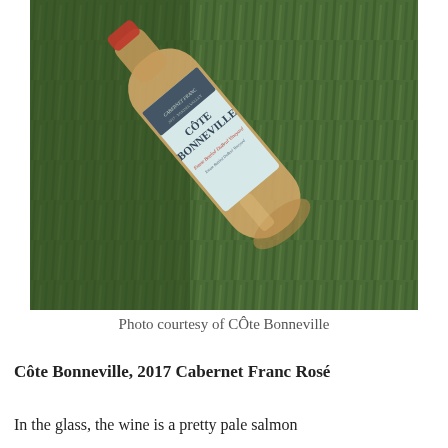[Figure (photo): A wine bottle of Côte Bonneville 2017 Cabernet Franc Rosé lying on green grass, showing the label clearly. The bottle is tilted diagonally across the frame.]
Photo courtesy of CÔte Bonneville
Côte Bonneville, 2017 Cabernet Franc Rosé
In the glass, the wine is a pretty pale salmon